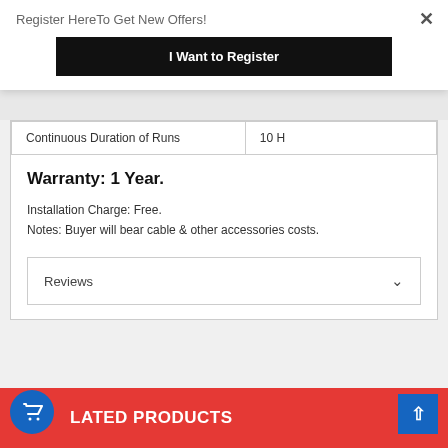Register HereTo Get New Offers!
I Want to Register
| Continuous Duration of Runs | 10 H |
Warranty: 1 Year.
Installation Charge: Free.
Notes: Buyer will bear cable & other accessories costs.
Reviews
LATED PRODUCTS